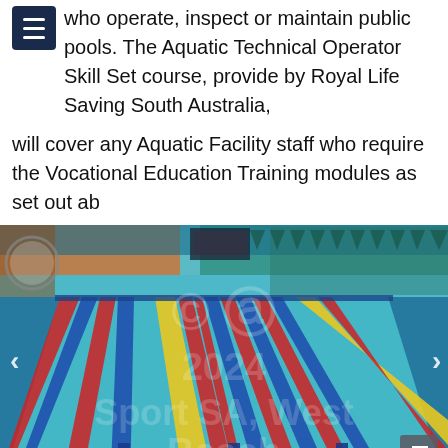who operate, inspect or maintain public pools. The Aquatic Technical Operator Skill Set course, provided by Royal Life Saving South Australia,
will cover any Aquatic Facility staff who require the Vocational Education Training modules as set out ab
[Figure (photo): Indoor Olympic-size swimming pool with lane ropes in red and blue, yellow center stripe, seen from ground level perspective. Bleachers and signage visible in background. Watermarked with 'Sport SA, West Beach' text overlay.]